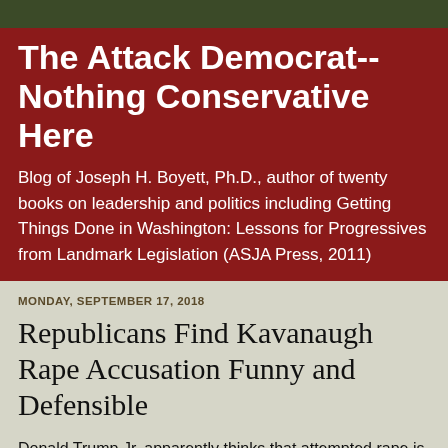The Attack Democrat-- Nothing Conservative Here
Blog of Joseph H. Boyett, Ph.D., author of twenty books on leadership and politics including Getting Things Done in Washington: Lessons for Progressives from Landmark Legislation (ASJA Press, 2011)
MONDAY, SEPTEMBER 17, 2018
Republicans Find Kavanaugh Rape Accusation Funny and Defensible
Donald Trump Jr. apparently thinks that attempted rape is funny or at most just innocent child's play.  Check out his post.   https://www.huffingtonpost.com/entry/donald-trump-jr-posts-meme-mocking-woman-accusing-brett-kavanaugh-of-sexual-assault_us_5b9f996ee4b013b0977cc464